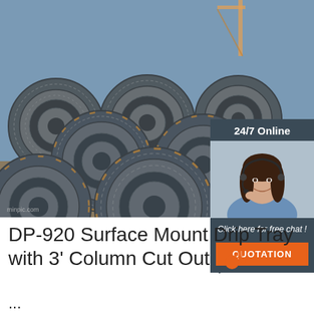[Figure (photo): Stacked steel wire rod coils at a construction/industrial site with a crane visible in the background. Image watermark reads 'minpic.com'.]
[Figure (infographic): Side panel overlay on top-right of main image showing '24/7 Online' header, a female customer service agent wearing a headset, 'Click here for free chat!' text in italic, and an orange 'QUOTATION' button. Dark blue-grey background.]
DP-920 Surface Mount Drip Tray with 3' Column Cut Out
...